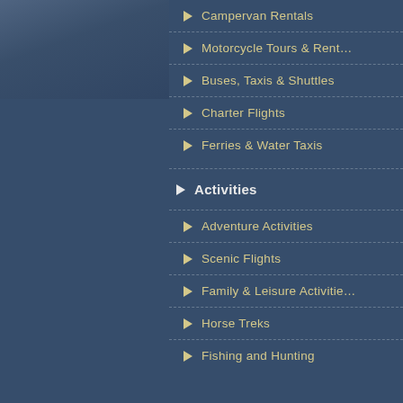[Figure (photo): Partial photo visible in top-left, showing a dark blue-grey sky/outdoor scene]
Campervan Rentals
Motorcycle Tours & Rentals
Buses, Taxis & Shuttles
Charter Flights
Ferries & Water Taxis
Activities
Adventure Activities
Scenic Flights
Family & Leisure Activities
Horse Treks
Fishing and Hunting